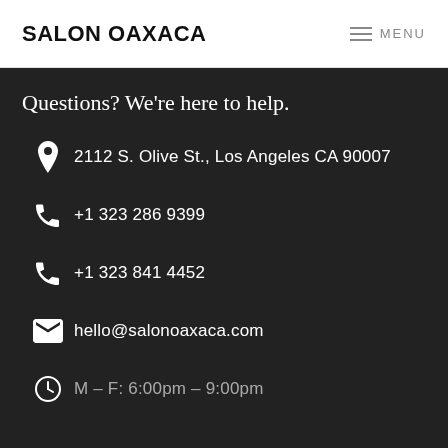SALON OAXACA | MENU
Questions? We're here to help.
2112 S. Olive St., Los Angeles CA 90007
+1 323 286 9399
+1 323 841 4452
hello@salonoaxaca.com
M – F: 6:00pm – 9:00pm